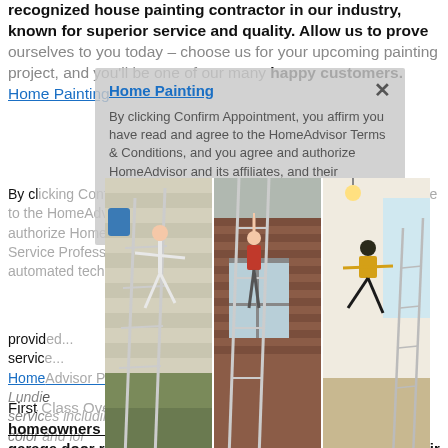recognized house painting contractor in our industry, known for superior service and quality. Allow us to prove ourselves to you today – choose us for your upcoming painting project, and you'll be one of our many happy customers.
By clicking Confirm Appointment, you affirm you have read and agree to the HomeAdvisor Terms & Conditions, and you agree and authorize HomeAdvisor and its affiliates, and their networks of Service Professionals, to deliver marketing calls or texts using automated technology to the number you provided, including your mobile number. Consent is not a condition of purchase. Additionally you agree to the HomeAdvisor Privacy Policy including arbitration ... View Profile House Painting CO
[Figure (photo): Three photos side by side: left shows a person diving off a ladder next to a house with ladder leaning on siding; center shows a person in red top climbing a ladder on a brick house exterior; right shows a person in yellow shirt leaping near a ladder indoors.]
Lundie services including in color and interior jobs with epoxy per removal the business in with some of our customer reviews to see for yourself. ... View Profile House Painting CO
First Class Overhead Door LLC is the ideal choice for both homeowners and businesses in the area who value quality garage door replacement, installation, and repair work at fair